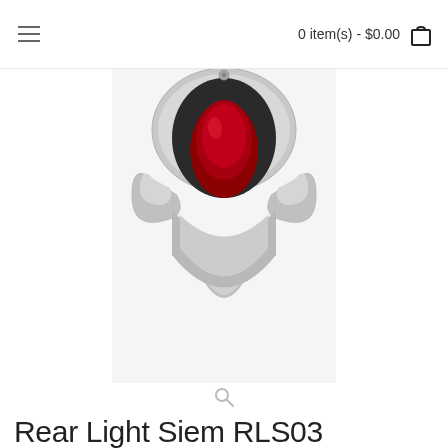0 item(s) - $0.00
[Figure (photo): Chrome and red rear light assembly (Siem RLS03) photographed on white background, teardrop-shaped red lens in chrome housing]
Rear Light Siem RLS03
Product Code: RLS03
Availability: IN STOCK
Views: 1892
0 Sold Products
$136.95